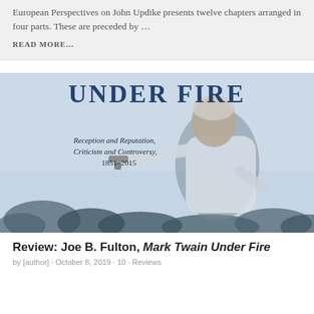European Perspectives on John Updike presents twelve chapters arranged in four parts. These are preceded by …
READ MORE…
[Figure (photo): Book cover image for 'Mark Twain Under Fire: Reception and Reputation, Criticism and Controversy, 1851–2015' by Joe B. Fulton, showing a blue-tinted photograph of an elderly man in a white suit pointing a pistol, with large title text 'UNDER FIRE' at the top.]
Review: Joe B. Fulton, Mark Twain Under Fire
by [author] · October 8, 2019 · 10 · Reviews